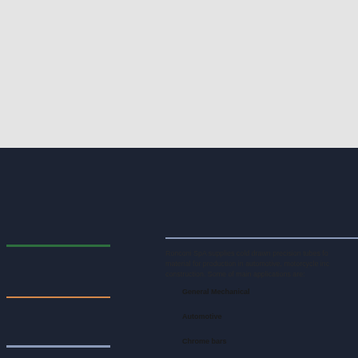[Figure (photo): Top gray background area]
[Figure (photo): Dark navy/charcoal band spanning full width]
Ronconi SpA supplies cold drawn precision tubes for material for production in automotive, motorcycle ind construction. Some of main applications are:
General Mechanical
Automotive
Chrome bars